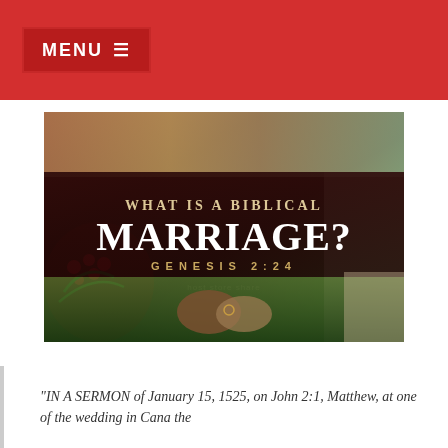MENU ≡
[Figure (illustration): Image with dark overlay showing hands being held, with text overlay reading 'WHAT IS A BIBLICAL MARRIAGE? GENESIS 2:24' on a dark brownish-red banner. Background shows floral elements and interracial couple holding hands.]
"IN A SERMON of January 15, 1525, on John 2:1, Matthew, at one of the wedding in Cana the